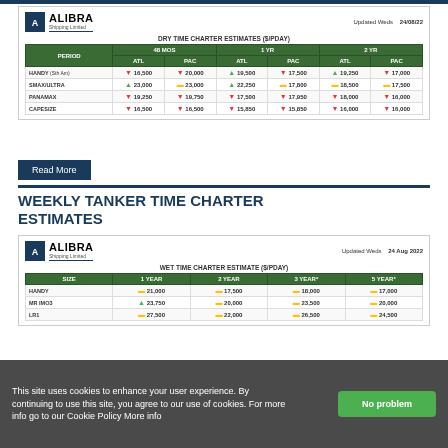[Figure (table-as-image): Alibra Shipping Limited Dry Time Charter Estimates table showing ATL and PAC rates for HANDY, SMAMAX/ULTRA, PANAMAX, CAPESIZE vessel sizes across 48 MOS, 1 YR, and 2 YR periods]
| SIZE | 48 MOS ATL | 48 MOS PAC | 1 YR ATL | 1 YR PAC | 2 YR ATL | 2 YR PAC |
| --- | --- | --- | --- | --- | --- | --- |
| HANDY (Sth Am) | 16,500 | 20,000 | 19,500 | 17,500 | 19,250 | 17,000 |
| SMAX/ULTRA | 23,000 | 23,000 | 22,250 | 17,800 | 18,500 | 17,500 |
| PANAMAX | 19,250 | 19,750 | 17,500 | 17,950 | 18,000 | 16,000 |
| CAPESIZE | 16,500 | 16,500 | 15,850 | 15,850 | 16,000 | 16,000 |
Read More
WEEKLY TANKER TIME CHARTER ESTIMATES
| SIZE | 1 YEAR | 2 YEAR | 3 YEAR* | 5 YEAR* |
| --- | --- | --- | --- | --- |
| HANDY | 21,000 | 17,500 | 18,000 | 17,000 |
| MR IMO3 | 23,750 | 20,000 | 23,500 | 20,000 |
| LR1 | 27,500 | 22,000 | 26,500 | 24,500 |
This site uses cookies to enhance your user experience. By continuing to use this site, you agree to our use of cookies. For more info go to our Cookie Policy More info
No problem